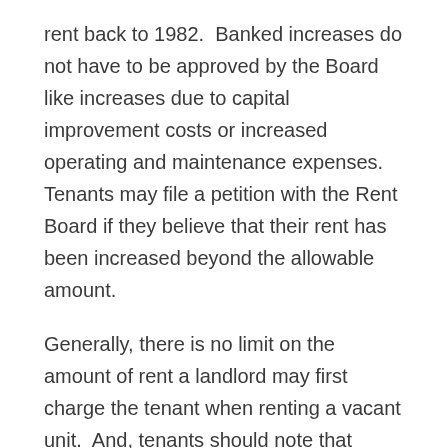rent back to 1982.  Banked increases do not have to be approved by the Board like increases due to capital improvement costs or increased operating and maintenance expenses.  Tenants may file a petition with the Rent Board if they believe that their rent has been increased beyond the allowable amount.
Generally, there is no limit on the amount of rent a landlord may first charge the tenant when renting a vacant unit.  And, tenants should note that pursuant to a state law, the Costa-Hawkins Rental Housing Act, most single-family homes and condominiums may be exempt from the rent increase limitations of the ordinance but not the just cause eviction provisions.